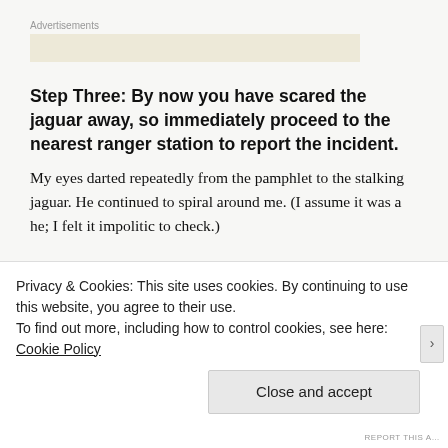Advertisements
Step Three: By now you have scared the jaguar away, so immediately proceed to the nearest ranger station to report the incident.
My eyes darted repeatedly from the pamphlet to the stalking jaguar. He continued to spiral around me. (I assume it was a he; I felt it impolitic to check.)
Privacy & Cookies: This site uses cookies. By continuing to use this website, you agree to their use.
To find out more, including how to control cookies, see here: Cookie Policy
Close and accept